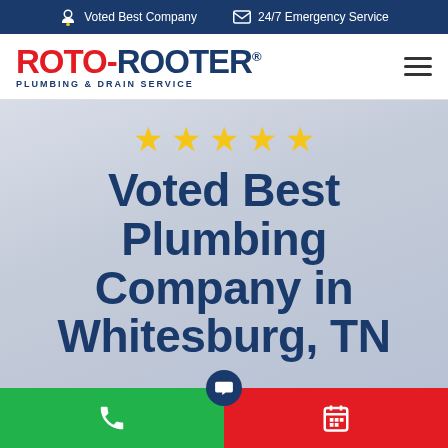Voted Best Company   24/7 Emergency Service
[Figure (logo): Roto-Rooter Plumbing & Drain Service logo with red and blue text]
Voted Best Plumbing Company in Whitesburg, TN
[Figure (infographic): Five yellow stars rating]
Call button (green) and Schedule button (red) at bottom